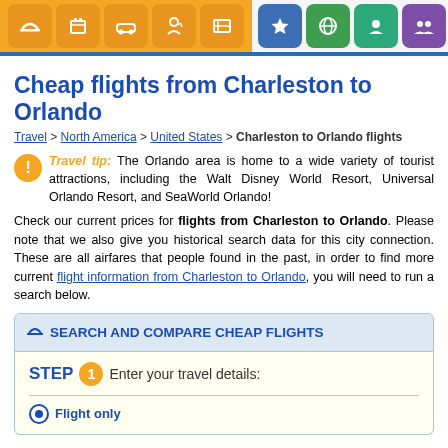Navigation bar with travel category icons
Cheap flights from Charleston to Orlando
Travel > North America > United States > Charleston to Orlando flights
Travel tip: The Orlando area is home to a wide variety of tourist attractions, including the Walt Disney World Resort, Universal Orlando Resort, and SeaWorld Orlando!
Check our current prices for flights from Charleston to Orlando. Please note that we also give you historical search data for this city connection. These are all airfares that people found in the past, in order to find more current flight information from Charleston to Orlando, you will need to run a search below.
SEARCH AND COMPARE CHEAP FLIGHTS
STEP 1 Enter your travel details:
Flight only